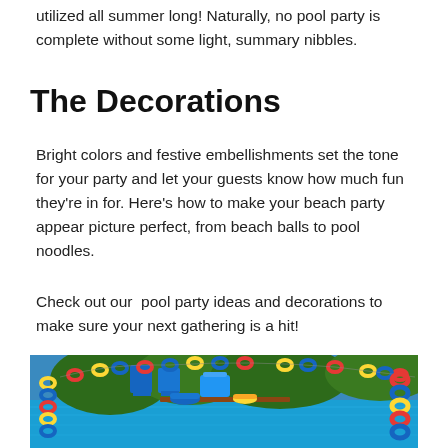utilized all summer long! Naturally, no pool party is complete without some light, summary nibbles.
The Decorations
Bright colors and festive embellishments set the tone for your party and let your guests know how much fun they're in for. Here's how to make your beach party appear picture perfect, from beach balls to pool noodles.
Check out our  pool party ideas and decorations to make sure your next gathering is a hit!
[Figure (photo): A pool party decoration scene showing colorful pool noodle rings strung as garlands in red, yellow, and blue above a table with a cake, food items, and pool-themed decorations beside a swimming pool with blue water and blue chairs in the background.]